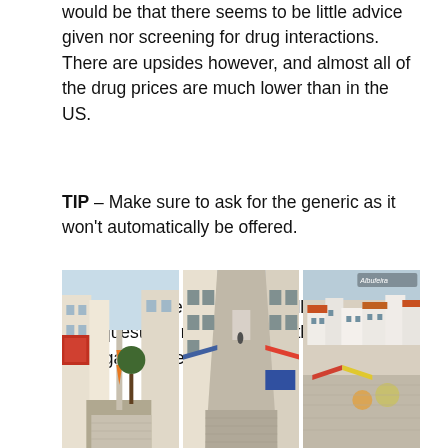would be that there seems to be little advice given nor screening for drug interactions. There are upsides however, and almost all of the drug prices are much lower than in the US.
TIP – Make sure to ask for the generic as it won't automatically be offered.
TIP – A good reference that will help answer your questions regarding Healthcare in Portugal can be found Here.
[Figure (photo): Three side-by-side photos of Portuguese streets and town scenes in the Algarve region]